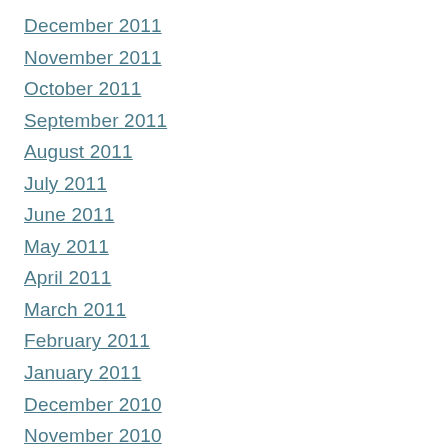December 2011
November 2011
October 2011
September 2011
August 2011
July 2011
June 2011
May 2011
April 2011
March 2011
February 2011
January 2011
December 2010
November 2010
October 2010
September 2010
August 2010
July 2010
June 2010